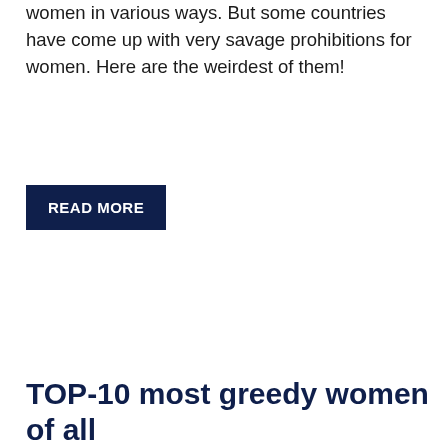women in various ways. But some countries have come up with very savage prohibitions for women. Here are the weirdest of them!
READ MORE
TOP-10 most greedy women of all